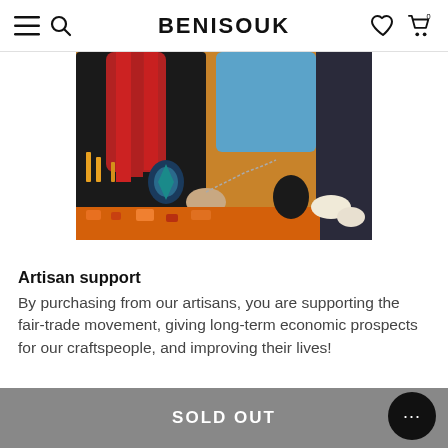BENISOUK
[Figure (photo): Close-up photo of a craftsperson with red braided hair wearing a black embroidered traditional garment, working with jewelry/chain over a colorful patterned fabric surface. Another person in blue is visible in the background.]
Artisan support
By purchasing from our artisans, you are supporting the fair-trade movement, giving long-term economic prospects for our craftspeople, and improving their lives!
SOLD OUT